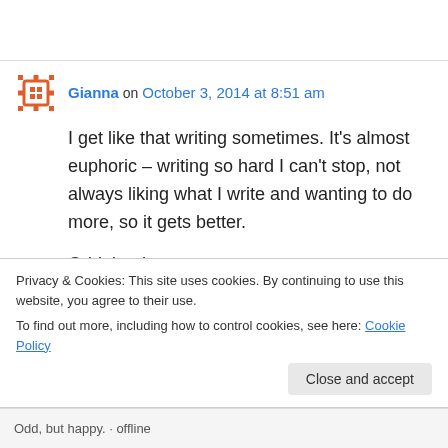Gianna on October 3, 2014 at 8:51 am
I get like that writing sometimes. It’s almost euphoric – writing so hard I can’t stop, not always liking what I write and wanting to do more, so it gets better.

Odd, but happy.
Liked by 1 person
Privacy & Cookies: This site uses cookies. By continuing to use this website, you agree to their use.
To find out more, including how to control cookies, see here: Cookie Policy
Close and accept